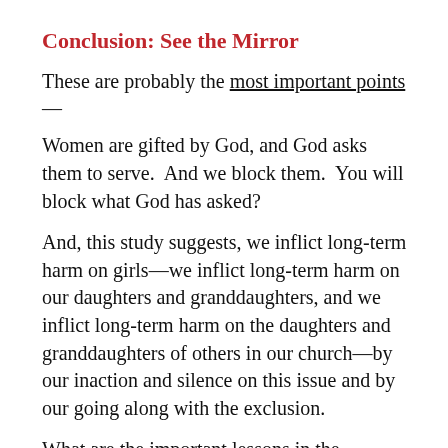Conclusion: See the Mirror
These are probably the most important points —
Women are gifted by God, and God asks them to serve.  And we block them.  You will block what God has asked?
And, this study suggests, we inflict long-term harm on girls—we inflict long-term harm on our daughters and granddaughters, and we inflict long-term harm on the daughters and granddaughters of others in our church—by our inaction and silence on this issue and by our going along with the exclusion.
What are the important lessons in the mirror...